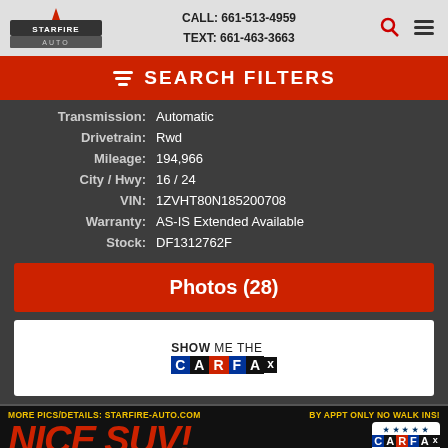CALL: 661-513-4959  TEXT: 661-463-3663
SEARCH FILTERS
| Transmission: | Automatic |
| Drivetrain: | Rwd |
| Mileage: | 194,966 |
| City / Hwy: | 16 / 24 |
| VIN: | 1ZVHT80N185200708 |
| Warranty: | AS-IS Extended Available |
| Stock: | DF1312762F |
Photos (28)
[Figure (logo): Show Me The CARFAX logo]
MORE PICS/DETAILS: STARFIRE-AUTO.COM   BY APPT ONLY NO WALK INS!
NICE SUV!